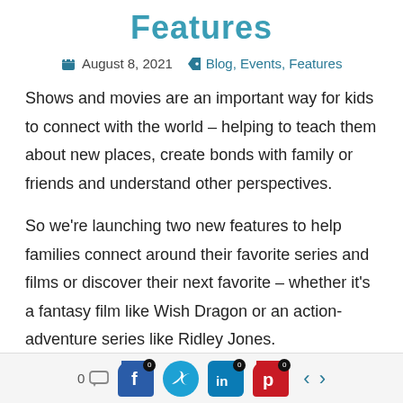Features
August 8, 2021  Blog, Events, Features
Shows and movies are an important way for kids to connect with the world – helping to teach them about new places, create bonds with family or friends and understand other perspectives.
So we're launching two new features to help families connect around their favorite series and films or discover their next favorite – whether it's a fantasy film like Wish Dragon or an action-adventure series like Ridley Jones.
0 comments | Share on Facebook 0 | Share on Twitter 0 | Share on LinkedIn 0 | Share on Pinterest 0 | Previous | Next